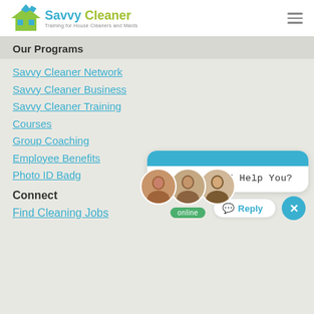[Figure (logo): Savvy Cleaner logo with house icon, blue and green text, subtitle 'Training for House Cleaners and Maids']
Our Programs
Savvy Cleaner Network
Savvy Cleaner Business
Savvy Cleaner Training Courses
Group Coaching
Employee Benefits
Photo ID Badges
[Figure (photo): Three circular avatar photos of people with an 'online' green badge]
[Figure (screenshot): Chat widget with blue header and white body showing 'Hi, How Can I Help You?' with Reply and close buttons]
Connect
Find Cleaning Jobs